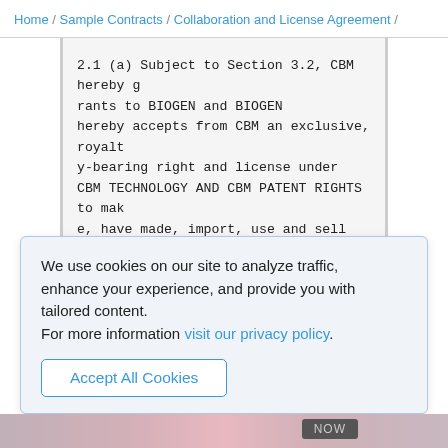Home / Sample Contracts / Collaboration and License Agreement /
2.1 (a) Subject to Section 3.2, CBM hereby grants to BIOGEN and BIOGEN hereby accepts from CBM an exclusive, royalty-bearing right and license under CBM TECHNOLOGY AND CBM PATENT RIGHTS to make, have made, import, use and sell PRODUCTS in the TERRITORY. In the event that under the preceding sentence CBM has granted to BIOGEN a sublicense to CBM's
We use cookies on our site to analyze traffic, enhance your experience, and provide you with tailored content.
For more information visit our privacy policy.